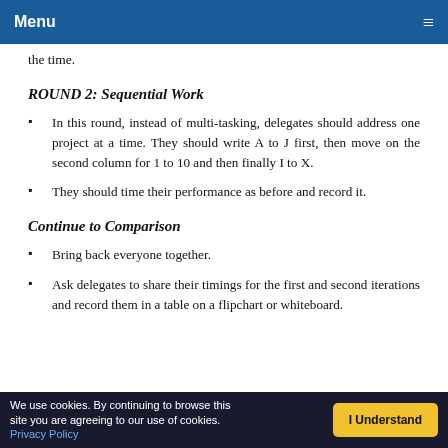Menu
the time.
ROUND 2: Sequential Work
In this round, instead of multi-tasking, delegates should address one project at a time. They should write A to J first, then move on the second column for 1 to 10 and then finally I to X.
They should time their performance as before and record it.
Continue to Comparison
Bring back everyone together.
Ask delegates to share their timings for the first and second iterations and record them in a table on a flipchart or whiteboard.
We use cookies. By continuing to browse this site you are agreeing to our use of cookies. Privacy Policy | I Understand